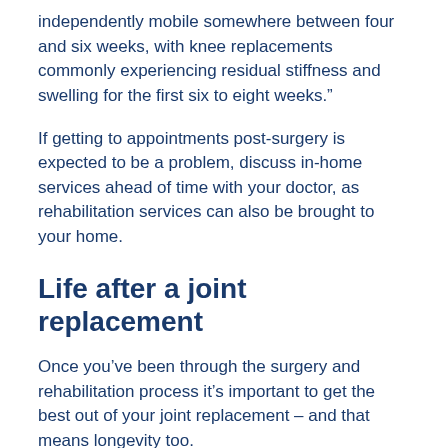independently mobile somewhere between four and six weeks, with knee replacements commonly experiencing residual stiffness and swelling for the first six to eight weeks.”
If getting to appointments post-surgery is expected to be a problem, discuss in-home services ahead of time with your doctor, as rehabilitation services can also be brought to your home.
Life after a joint replacement
Once you’ve been through the surgery and rehabilitation process it’s important to get the best out of your joint replacement – and that means longevity too.
Maintaining a healthy weight, selecting appropriate physical activities and limiting high impact sports